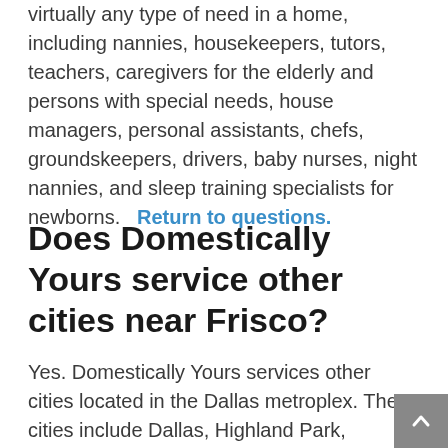virtually any type of need in a home, including nannies, housekeepers, tutors, teachers, caregivers for the elderly and persons with special needs, house managers, personal assistants, chefs, groundskeepers, drivers, baby nurses, night nannies, and sleep training specialists for newborns.    Return to questions.
Does Domestically Yours service other cities near Frisco?
Yes. Domestically Yours services other cities located in the Dallas metroplex. These cities include Dallas, Highland Park, University Park, Lakewood, Richardson, Plano, Prosper, Allen, McKinney, Coppell, Southlake, and